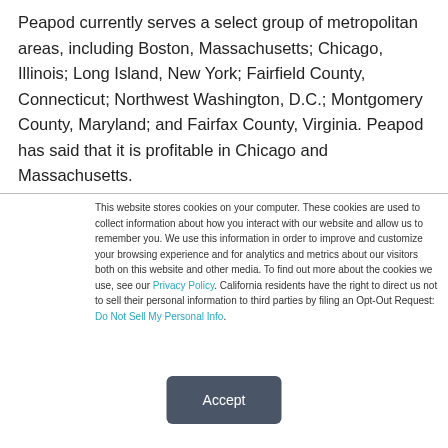Peapod currently serves a select group of metropolitan areas, including Boston, Massachusetts; Chicago, Illinois; Long Island, New York; Fairfield County, Connecticut; Northwest Washington, D.C.; Montgomery County, Maryland; and Fairfax County, Virginia. Peapod has said that it is profitable in Chicago and Massachusetts.
This website stores cookies on your computer. These cookies are used to collect information about how you interact with our website and allow us to remember you. We use this information in order to improve and customize your browsing experience and for analytics and metrics about our visitors both on this website and other media. To find out more about the cookies we use, see our Privacy Policy. California residents have the right to direct us not to sell their personal information to third parties by filing an Opt-Out Request: Do Not Sell My Personal Info.